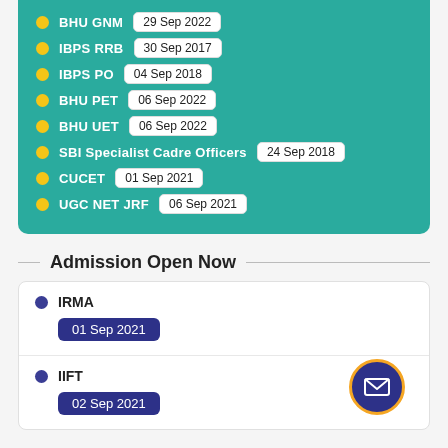BHU GNM  29 Sep 2022
IBPS RRB  30 Sep 2017
IBPS PO  04 Sep 2018
BHU PET  06 Sep 2022
BHU UET  06 Sep 2022
SBI Specialist Cadre Officers  24 Sep 2018
CUCET  01 Sep 2021
UGC NET JRF  06 Sep 2021
Admission Open Now
IRMA  01 Sep 2021
IIFT  02 Sep 2021